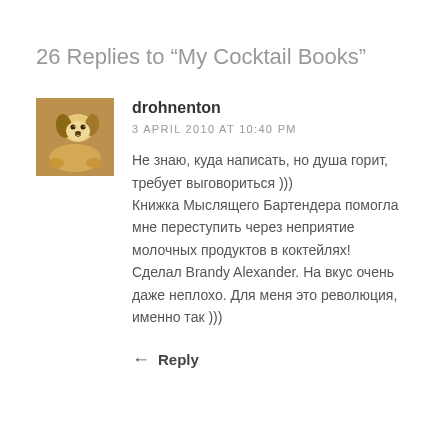26 Replies to “My Cocktail Books”
[Figure (photo): Avatar photo of a small dog (beagle/hound mix) lying down, warm tan and white coloring]
drohnenton
3 APRIL 2010 AT 10:40 PM
Не знаю, куда написать, но душа горит, требует выговориться )))
Книжка Мыслящего Бартендера помогла мне переступить через неприятие молочных продуктов в коктейлях!
Сделал Brandy Alexander. На вкус очень даже неплохо. Для меня это революция, именно так )))
← Reply